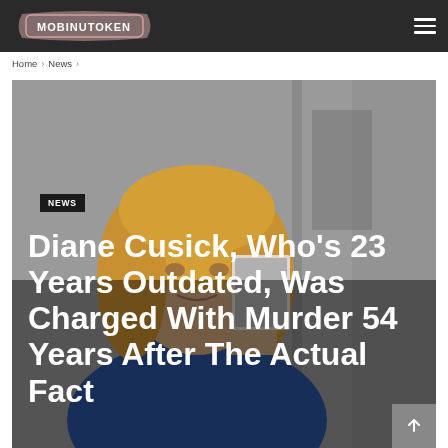MOBINUTOKEN
Home > News >
[Figure (photo): A blonde woman holding up a photograph/document, looking distressed, in a muted interior setting. A dark NEWS badge overlays the lower-left of the image.]
Diane Cusick, Who's 23 Years Outdated, Was Charged With Murder 54 Years After The Actual Fact